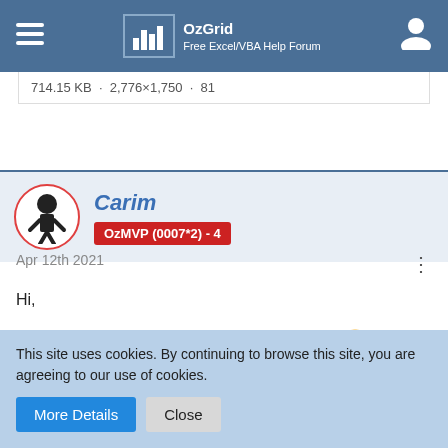OzGrid — Free Excel/VBA Help Forum
714.15 KB · 2,776×1,750 · 81
Carim
OzMVP (0007*2) - 4
Apr 12th 2021
Hi,
What you are requesting is indeed possible ... 🙂
This site uses cookies. By continuing to browse this site, you are agreeing to our use of cookies.